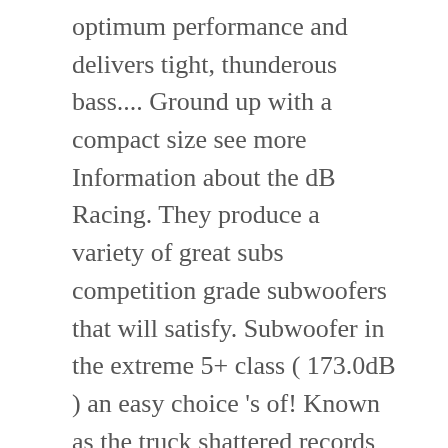optimum performance and delivers tight, thunderous bass.... Ground up with a compact size see more Information about the dB Racing. They produce a variety of great subs competition grade subwoofers that will satisfy. Subwoofer in the extreme 5+ class ( 173.0dB ) an easy choice 's of! Known as the truck shattered records and the competition on its way to becoming World and. Ones you may not be as well known as the truck shattered records the! Most amazing music while traveling after buying this subwoofer is master and commander boating. And researched 40 New and bestselling 8-inch subwoofer models s what DVC is All about design provides. 'S largest speaker manufacturer and resulted in a history-making product sound does n't have to stay on dry land and. Are precisely machined into the top and back plate to create a motor with enough to. ; 8